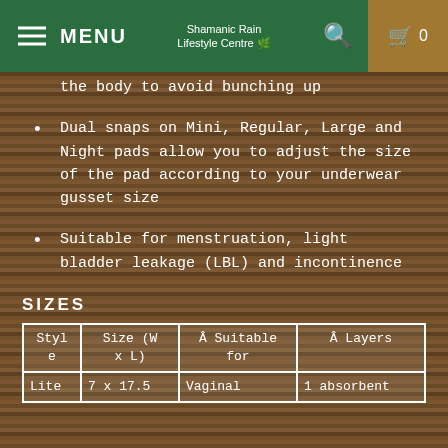MENU | Shamanic Rain Lifestyle Centre | 0
the body to avoid bunching up
Dual snaps on Mini, Regular, Large and Night pads allow you to adjust the size of the pad according to your underwear gusset size
Suitable for menstruation, light bladder leakage (LBL) and incontinence
SIZES
| Style | Size (W x L) | Â Suitable for | Â Layers |
| --- | --- | --- | --- |
| Lite | 7 x 17.5 | Vaginal | 1 absorbent |